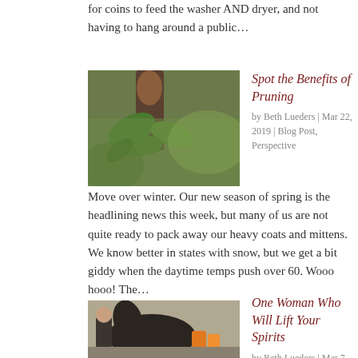for coins to feed the washer AND dryer, and not having to hang around a public...
Spot the Benefits of Pruning
by Beth Lueders | Mar 22, 2019 | Blog Post, Perspective
[Figure (photo): Close-up photo of a plant bud sprouting with green leaves and a brown stem against a blurred background]
Move over winter. Our new season of spring is the headlining news this week, but many of us are not quite ready to pack away our heavy coats and mittens. We know better in states with snow, but we get a bit giddy when the daytime temps push over 60. Wooo hooo! The...
One Woman Who Will Lift Your Spirits
by Beth Lueders | Mar 7, 2019 | Blog Post, Everyday
[Figure (photo): Photo of a woman with a dark horse at what appears to be a stable or outdoor setting with orange equipment visible]